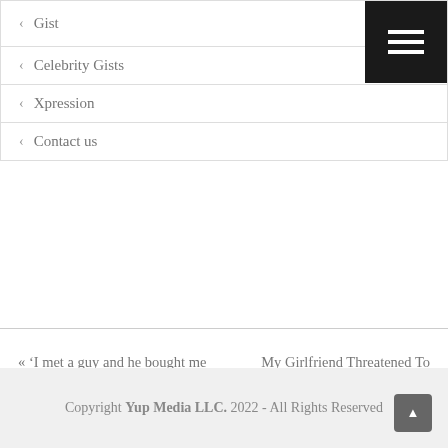< Gist
< Celebrity Gists
< Xpression
< Contact us
« 'I met a guy and he bought me a car same day' – Nigerian Lady, reveals
My Girlfriend Threatened To Dump Me If I Don't Marry Her Now »
Copyright Yup Media LLC. 2022 - All Rights Reserved